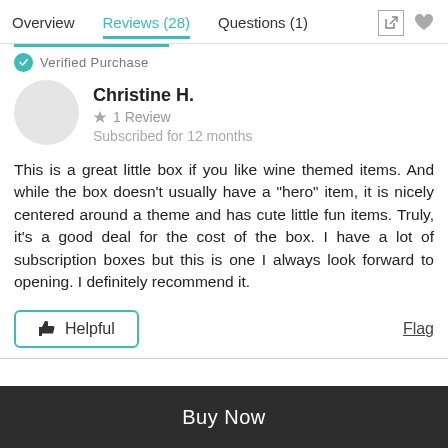Overview   Reviews (28)   Questions (1)
Verified Purchase
Christine H.
★ 1 Review
Subscribed for 12 months
This is a great little box if you like wine themed items. And while the box doesn't usually have a "hero" item, it is nicely centered around a theme and has cute little fun items. Truly, it's a good deal for the cost of the box. I have a lot of subscription boxes but this is one I always look forward to opening. I definitely recommend it.
👍 Helpful   Flag